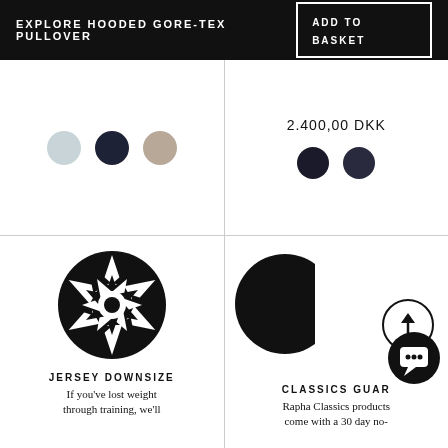EXPLORE HOODED GORE-TEX PULLOVER
ADD TO BASKET
2.400,00 DKK
[Figure (illustration): Color swatches: light blue/grey circle, dark navy circle, taupe/beige circle on left panel; two dark circles (dark and very dark navy) on right panel]
[Figure (illustration): Geometric black and white star/pinwheel circular pattern - Rapha jersey downsize icon]
JERSEY DOWNSIZE
If you've lost weight through training, we'll
[Figure (illustration): Rapha Classics guarantee icon - black circle with diagonal slash, plus a scroll-up arrow circle and a chat bubble circle]
CLASSICS GUAR
Rapha Classics products come with a 30 day no-